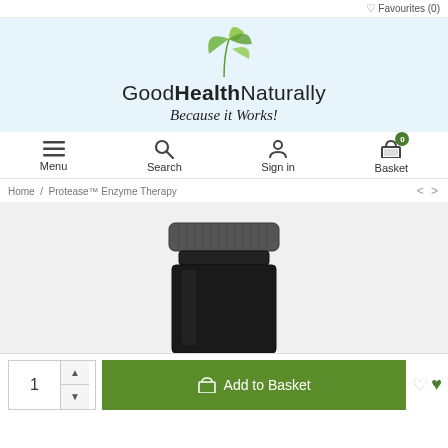Favourites (0)
[Figure (logo): Good Health Naturally logo with green leaf illustration above the text 'Good Health Naturally — Because it Works!']
Menu | Search | Sign in | Basket (0)
Home / Protease™ Enzyme Therapy
[Figure (photo): Product photo showing top of a dark supplement bottle with grey ribbed cap, partially visible against a light grey background.]
1  Add to Basket